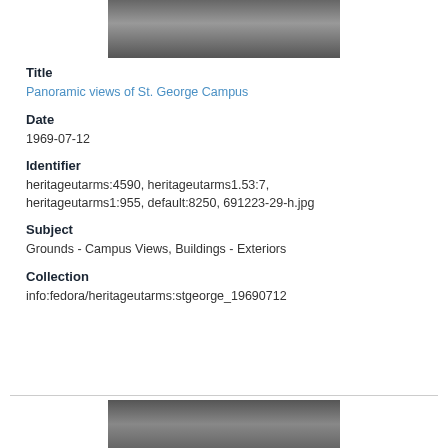[Figure (photo): Top partial view of a grayscale panoramic photo of St. George Campus buildings/vehicles]
Title
Panoramic views of St. George Campus
Date
1969-07-12
Identifier
heritageutarms:4590, heritageutarms1.53:7, heritageutarms1:955, default:8250, 691223-29-h.jpg
Subject
Grounds - Campus Views, Buildings - Exteriors
Collection
info:fedora/heritageutarms:stgeorge_19690712
[Figure (photo): Bottom partial view of another grayscale campus photo]